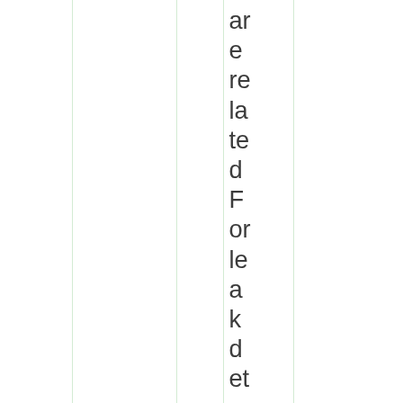are related For leak detection